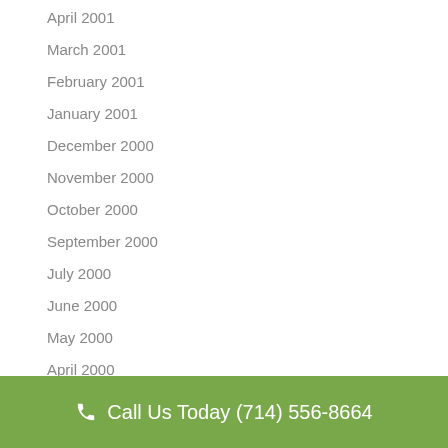April 2001
March 2001
February 2001
January 2001
December 2000
November 2000
October 2000
September 2000
July 2000
June 2000
May 2000
April 2000
March 2000
February 2000
January 2000
November 1999
October 1999
Call Us Today (714) 556-8664